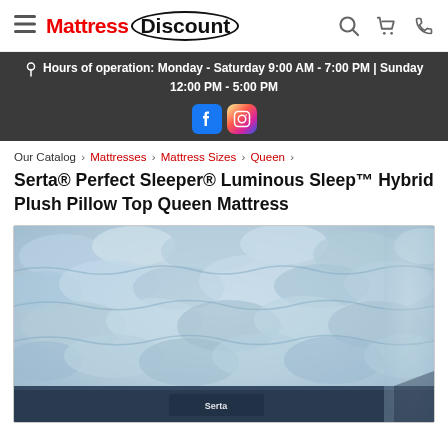Mattress Discount — navigation header with hamburger menu, logo, search, cart, and phone icons
📍 Hours of operation: Monday - Saturday 9:00 AM - 7:00 PM | Sunday 12:00 PM - 5:00 PM
Our Catalog › Mattresses › Mattress Sizes › Queen ›
Serta® Perfect Sleeper® Luminous Sleep™ Hybrid Plush Pillow Top Queen Mattress
[Figure (photo): Close-up photo of a Serta mattress with quilted pillow top fabric in light blue/grey tones, showing the pillow top surface and corner of the mattress with a dark navy border band and Serta logo tag.]